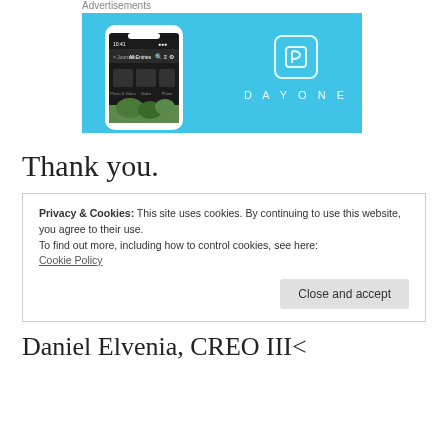Advertisements
[Figure (screenshot): DayOne app advertisement banner showing a smartphone with the DayOne app interface on a light blue background, with the DayOne logo (book icon and DAYONE text) on the right side.]
Thank you.
Privacy & Cookies: This site uses cookies. By continuing to use this website, you agree to their use.
To find out more, including how to control cookies, see here:
Cookie Policy
Close and accept
Daniel Elvenia, CREO III<